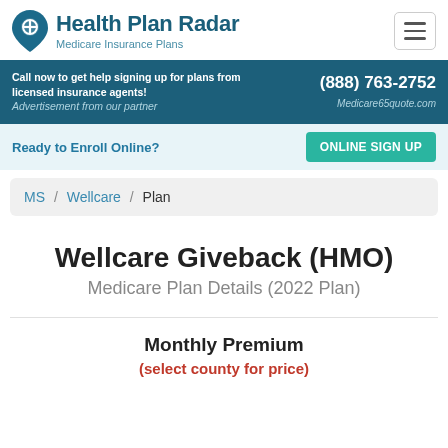Health Plan Radar — Medicare Insurance Plans
Call now to get help signing up for plans from licensed insurance agents! Advertisement from our partner — (888) 763-2752 — Medicare65quote.com
Ready to Enroll Online? ONLINE SIGN UP
MS / Wellcare / Plan
Wellcare Giveback (HMO)
Medicare Plan Details (2022 Plan)
Monthly Premium
(select county for price)